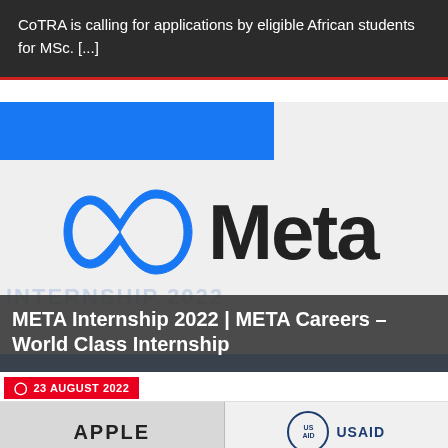CoTRA is calling for applications by eligible African students for MSc. [...]
[Figure (photo): Meta logo on light gray background with blue banner at top left corner. The Meta infinity symbol logo (blue) and 'Meta' text in dark color are prominently displayed. 'INTERNSHIP 2022' text visible in faint blue in background.]
META Internship 2022 | META Careers – World Class Internship
23 AUGUST 2022
[Figure (photo): Apple logo/text visible at bottom left]
[Figure (logo): USAID logo with circular seal at bottom right]